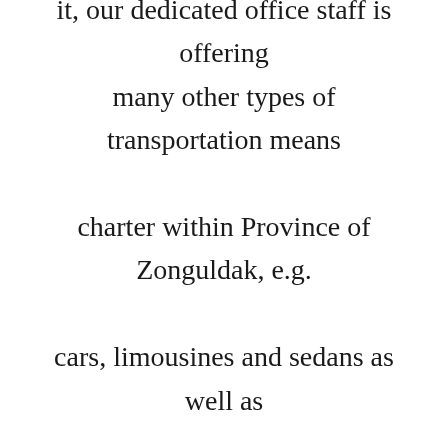it, our dedicated office staff is offering many other types of transportation means charter within Province of Zonguldak, e.g. cars, limousines and sedans as well as buses and coaches plus a driver included. With that said, our team is looking forward to give assistance to you if your club is looking for humorous tourguides for fascinating sightseeing circuits in Turkey